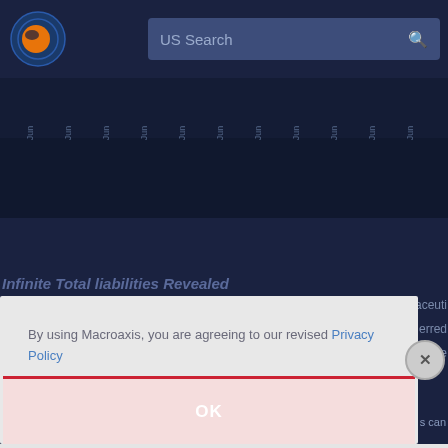[Figure (screenshot): Macroaxis website screenshot showing logo, US Search bar, and a financial chart with Jun axis labels. A modal dialog overlays the page with privacy policy consent text and an OK button.]
US Search
[Figure (continuous-plot): Financial time series chart with multiple 'Jun' axis labels along the x-axis on a dark navy background]
By using Macroaxis, you are agreeing to our revised Privacy Policy
OK